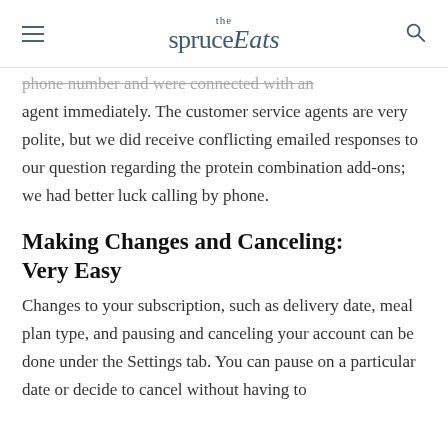the spruce Eats
phone number and were connected with an agent immediately. The customer service agents are very polite, but we did receive conflicting emailed responses to our question regarding the protein combination add-ons; we had better luck calling by phone.
Making Changes and Canceling: Very Easy
Changes to your subscription, such as delivery date, meal plan type, and pausing and canceling your account can be done under the Settings tab. You can pause on a particular date or decide to cancel without having to